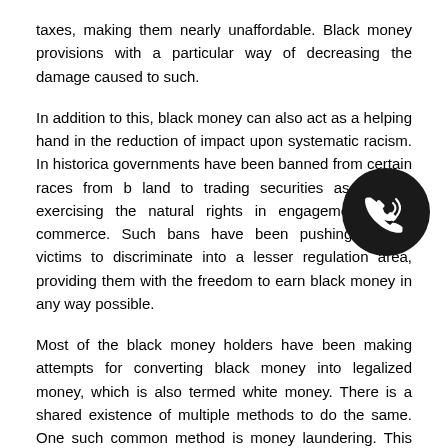taxes, making them nearly unaffordable. Black money provisions with a particular way of decreasing the damage caused to such.
In addition to this, black money can also act as a helping hand in the reduction of impact upon systematic racism. In historically governments have been banned from certain races from buying land to trading securities as well as exercising the natural rights in engagement within commerce. Such bans have been pushing various victims to discriminate into a lesser regulation area, providing them with the freedom to earn black money in any way possible.
Most of the black money holders have been making attempts for converting black money into legalized money, which is also termed white money. There is a shared existence of multiple methods to do the same. One such common method is money laundering. This can be done utilizing the hawala system of transactions. This system can be regarded as an information as well as a cheap method of transferring money from one particular region to another without having to carry out actual movement of the money as well